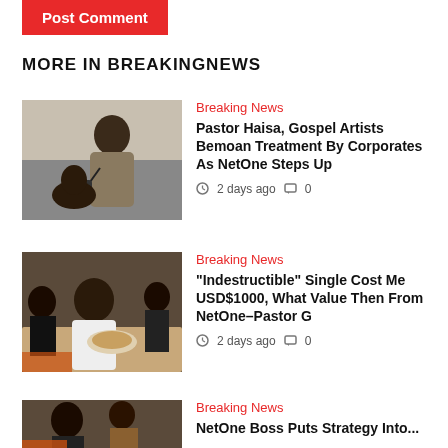Post Comment
MORE IN BREAKINGNEWS
[Figure (photo): Man speaking into microphone at event]
Breaking News
Pastor Haisa, Gospel Artists Bemoan Treatment By Corporates As NetOne Steps Up
2 days ago  0
[Figure (photo): Man seated at table with food]
Breaking News
“Indestructible” Single Cost Me USD$1000, What Value Then From NetOne-Pastor G
2 days ago  0
[Figure (photo): People at an event]
Breaking News
NetOne Boss Puts Strategy Into...